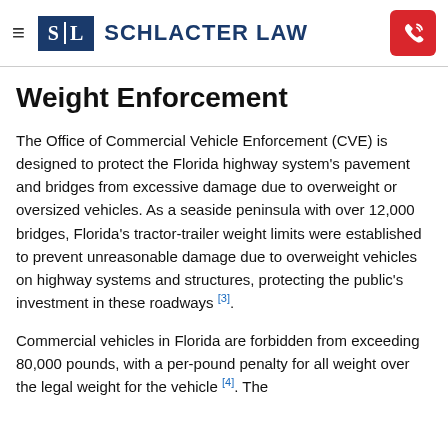≡  S|L  SCHLACTER LAW
Weight Enforcement
The Office of Commercial Vehicle Enforcement (CVE) is designed to protect the Florida highway system's pavement and bridges from excessive damage due to overweight or oversized vehicles. As a seaside peninsula with over 12,000 bridges, Florida's tractor-trailer weight limits were established to prevent unreasonable damage due to overweight vehicles on highway systems and structures, protecting the public's investment in these roadways [3].
Commercial vehicles in Florida are forbidden from exceeding 80,000 pounds, with a per-pound penalty for all weight over the legal weight for the vehicle [4]. The